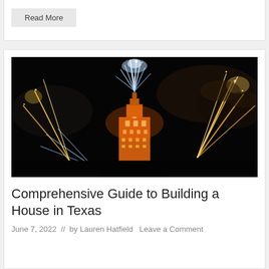Read More
[Figure (photo): Night photo of a tall illuminated tower building with fireworks exploding around it against a dark sky]
Comprehensive Guide to Building a House in Texas
June 7, 2022 // by Lauren Hatfield Leave a Comment